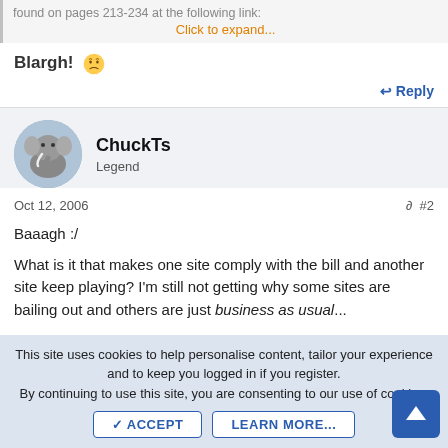found on pages 213-234 at the following link:
Click to expand...
Blargh! 😕
↩ Reply
ChuckTs
Legend
Oct 12, 2006
#2
Baaagh :/
What is it that makes one site comply with the bill and another site keep playing? I'm still not getting why some sites are bailing out and others are just business as usual...
This site uses cookies to help personalise content, tailor your experience and to keep you logged in if you register. By continuing to use this site, you are consenting to our use of cookies.
ACCEPT
LEARN MORE...